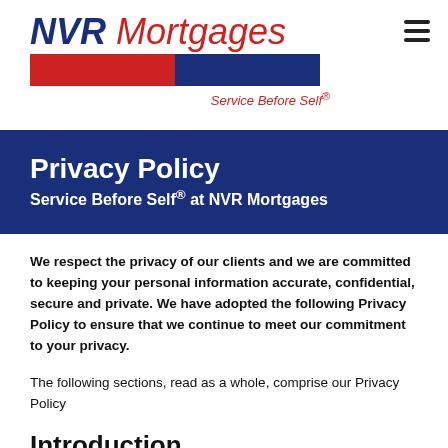[Figure (logo): NVR Mortgages logo with red and blue bar and 'Service Before Self®' tagline]
Privacy Policy
Service Before Self® at NVR Mortgages
We respect the privacy of our clients and we are committed to keeping your personal information accurate, confidential, secure and private. We have adopted the following Privacy Policy to ensure that we continue to meet our commitment to your privacy.
The following sections, read as a whole, comprise our Privacy Policy
Introduction